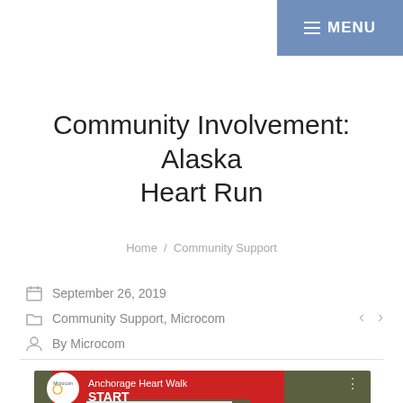MENU
Community Involvement: Alaska Heart Run
Home / Community Support
September 26, 2019
Community Support, Microcom
By Microcom
[Figure (screenshot): YouTube video thumbnail showing Anchorage Heart Walk START arch with Microcom logo, play button, and Chat Now button overlay]